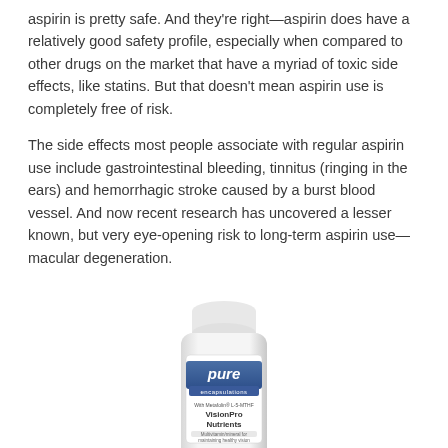aspirin is pretty safe. And they're right—aspirin does have a relatively good safety profile, especially when compared to other drugs on the market that have a myriad of toxic side effects, like statins. But that doesn't mean aspirin use is completely free of risk.
The side effects most people associate with regular aspirin use include gastrointestinal bleeding, tinnitus (ringing in the ears) and hemorrhagic stroke caused by a burst blood vessel. And now recent research has uncovered a lesser known, but very eye-opening risk to long-term aspirin use—macular degeneration.
[Figure (photo): A white supplement bottle labeled 'pure encapsulations VisionPro Nutrients' with a white cap, centered on the page.]